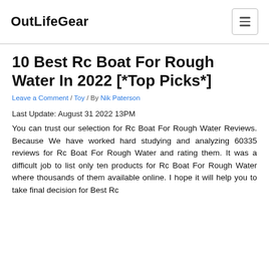OutLifeGear
10 Best Rc Boat For Rough Water In 2022 [*Top Picks*]
Leave a Comment / Toy / By Nik Paterson
Last Update: August 31 2022 13PM
You can trust our selection for Rc Boat For Rough Water Reviews. Because We have worked hard studying and analyzing 60335 reviews for Rc Boat For Rough Water and rating them. It was a difficult job to list only ten products for Rc Boat For Rough Water where thousands of them available online. I hope it will help you to take final decision for Best Rc